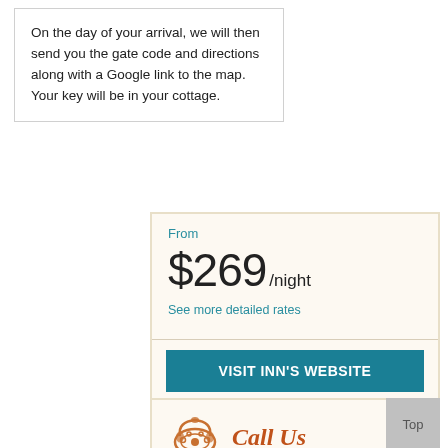On the day of your arrival, we will then send you the gate code and directions along with a Google link to the map. Your key will be in your cottage.
From
$269/night
See more detailed rates
VISIT INN'S WEBSITE
BOOK IT
CHECK AVAILABILITY
CONTACT US
[Figure (illustration): Vintage rotary telephone icon in orange/brown color]
Call Us
Top